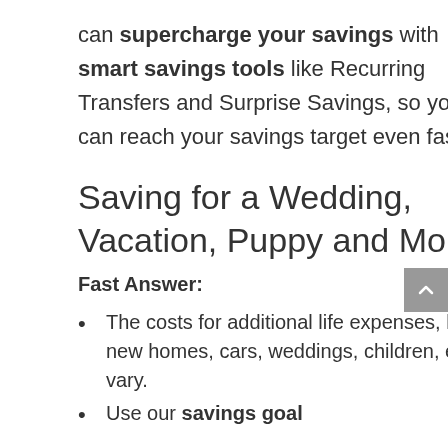can supercharge your savings with smart savings tools like Recurring Transfers and Surprise Savings, so you can reach your savings target even faster.
Saving for a Wedding, Vacation, Puppy and More
Fast Answer:
The costs for additional life expenses, like new homes, cars, weddings, children, etc. vary.
Use our savings goal